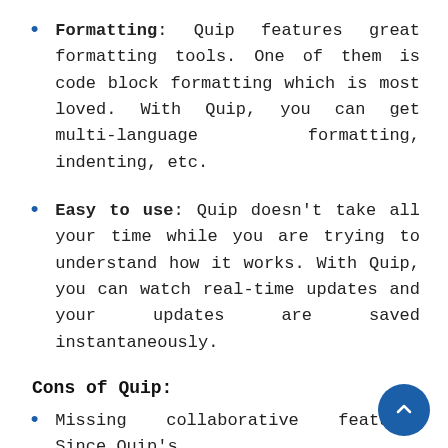Formatting: Quip features great formatting tools. One of them is code block formatting which is most loved. With Quip, you can get multi-language formatting, indenting, etc.
Easy to use: Quip doesn't take all your time while you are trying to understand how it works. With Quip, you can watch real-time updates and your updates are saved instantaneously.
Cons of Quip:
Missing collaborative feature: Since Quip's